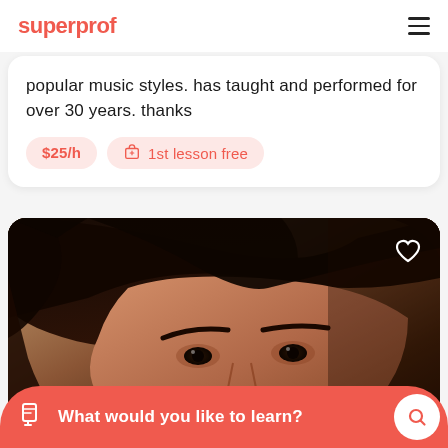superprof
popular music styles. has taught and performed for over 30 years. thanks
$25/h   1st lesson free
[Figure (photo): Close-up portrait photo of a person with dark hair, warm skin tones, showing face from top of head to chin area]
What would you like to learn?